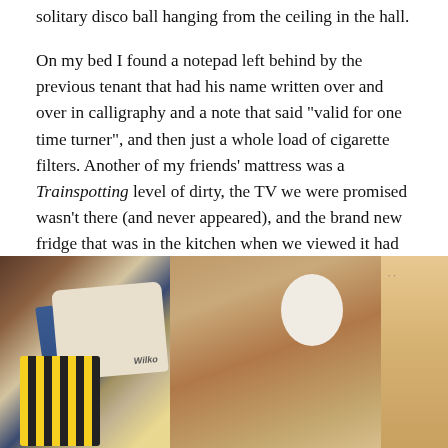solitary disco ball hanging from the ceiling in the hall.
On my bed I found a notepad left behind by the previous tenant that had his name written over and over in calligraphy and a note that said "valid for one time turner", and then just a whole load of cigarette filters. Another of my friends' mattress was a Trainspotting level of dirty, the TV we were promised wasn't there (and never appeared), and the brand new fridge that was in the kitchen when we viewed it had been replaced by a leaking old fridge that rocked whenever you walked past it.
[Figure (photo): A photo showing a messy room with bags and clothing on the left side, a brown/cardboard-colored wall or furniture in the center-right, a white oval shape on the wall, and a white cylindrical object (pipe or pole) on the far right.]